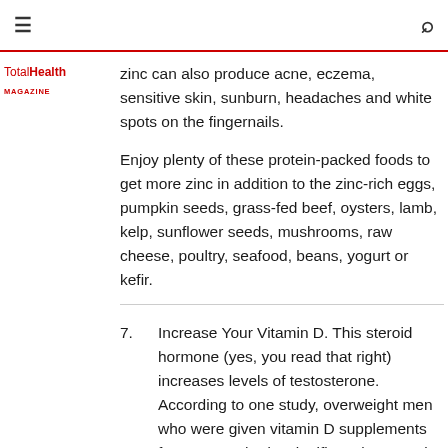≡  [search icon]
zinc can also produce acne, eczema, sensitive skin, sunburn, headaches and white spots on the fingernails.
Enjoy plenty of these protein-packed foods to get more zinc in addition to the zinc-rich eggs, pumpkin seeds, grass-fed beef, oysters, lamb, kelp, sunflower seeds, mushrooms, raw cheese, poultry, seafood, beans, yogurt or kefir.
7. Increase Your Vitamin D. This steroid hormone (yes, you read that right) increases levels of testosterone. According to one study, overweight men who were given vitamin D supplements for one year had a significant increase in testosterone levels.